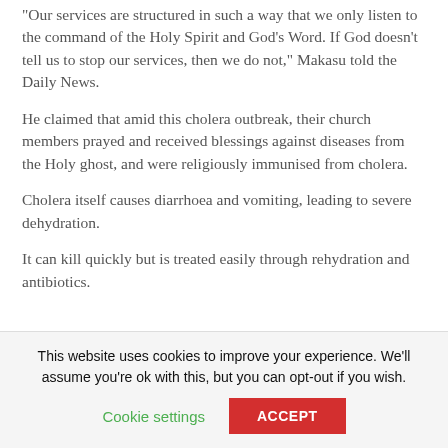“Our services are structured in such a way that we only listen to the command of the Holy Spirit and God’s Word. If God doesn’t tell us to stop our services, then we do not,” Makasu told the Daily News.
He claimed that amid this cholera outbreak, their church members prayed and received blessings against diseases from the Holy ghost, and were religiously immunised from cholera.
Cholera itself causes diarrhoea and vomiting, leading to severe dehydration.
It can kill quickly but is treated easily through rehydration and antibiotics.
This website uses cookies to improve your experience. We’ll assume you’re ok with this, but you can opt-out if you wish.
Cookie settings
ACCEPT